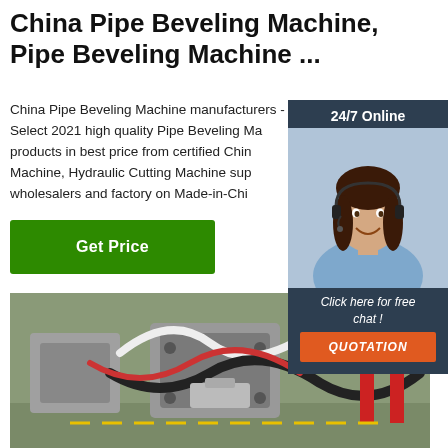China Pipe Beveling Machine, Pipe Beveling Machine ...
China Pipe Beveling Machine manufacturers - Select 2021 high quality Pipe Beveling Machine products in best price from certified China Cutting Machine, Hydraulic Cutting Machine sup wholesalers and factory on Made-in-Chi
Get Price
[Figure (photo): Chat widget with woman wearing headset, 24/7 Online label, Click here for free chat, QUOTATION button]
[Figure (photo): Photo of pipe beveling machines in a factory setting, showing hoses, cables, and industrial equipment]